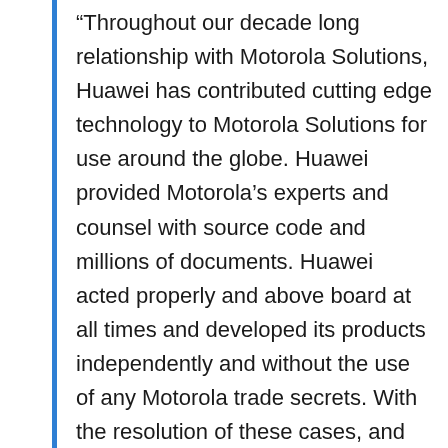“Throughout our decade long relationship with Motorola Solutions, Huawei has contributed cutting edge technology to Motorola Solutions for use around the globe. Huawei provided Motorola’s experts and counsel with source code and millions of documents. Huawei acted properly and above board at all times and developed its products independently and without the use of any Motorola trade secrets. With the resolution of these cases, and the misunderstandings put to rest, Huawei is pleased to move forward with its efforts to provide innovative solutions to its